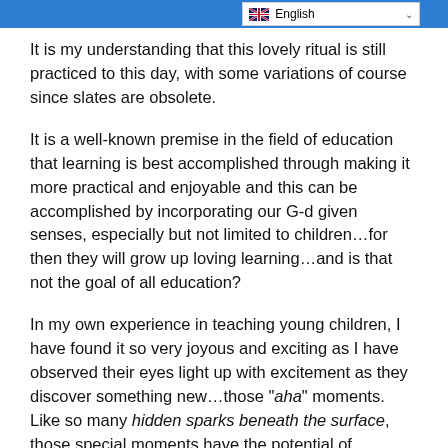English
It is my understanding that this lovely ritual is still practiced to this day, with some variations of course since slates are obsolete.
It is a well-known premise in the field of education that learning is best accomplished through making it more practical and enjoyable and this can be accomplished by incorporating our G-d given senses, especially but not limited to children…for then they will grow up loving learning…and is that not the goal of all education?
In my own experience in teaching young children, I have found it so very joyous and exciting as I have observed their eyes light up with excitement as they discover something new…those "aha" moments. Like so many hidden sparks beneath the surface, those special moments have the potential of manifesting themselves and building a sense of wonder that becomes intrinsically weaved into the inner being of the child. These moments have the potential to continue to grow and